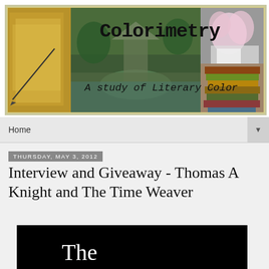[Figure (illustration): Blog header banner for 'Colorimetry - A Study of Literary Color' showing collage of books, garden with gazebo, pink flowers, and stacked books with handwritten-style title and subtitle text overlaid]
Home
Thursday, May 3, 2012
Interview and Giveaway - Thomas A Knight and The Time Weaver
[Figure (photo): Book cover image on black background showing the text 'The' in white serif font, partially visible, for 'The Time Weaver']